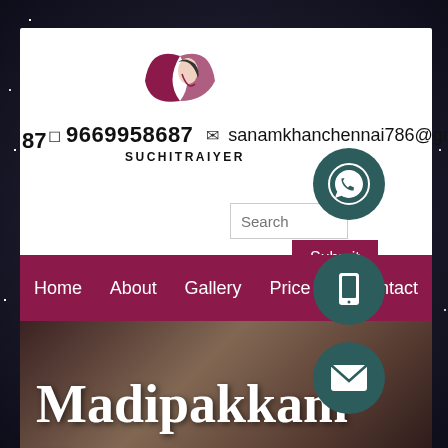[Figure (screenshot): Website header screenshot showing logo, contact info (phone: 9669958687, email: sanamkhanchennai786@gmail.com), brand name SUCHITRAIYER, search bar, Submit button, navigation bar with Home, About, Gallery, Price, Contact, floating WhatsApp/phone/email buttons, and hero section with text Madipakkam Escorts]
9669958687  sanamkhanchennai786@gmail.com
SUCHITRAIYER
Search
Submit
Home  About  Gallery  Price  Contact
Madipakkam Escorts